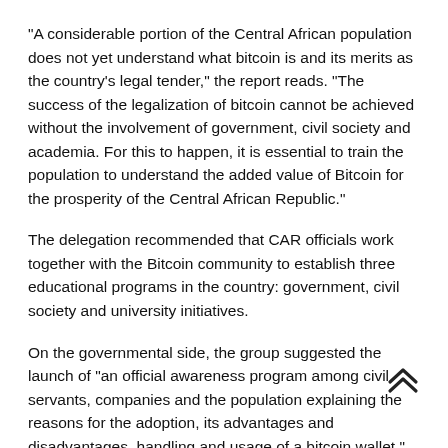"A considerable portion of the Central African population does not yet understand what bitcoin is and its merits as the country's legal tender," the report reads. "The success of the legalization of bitcoin cannot be achieved without the involvement of government, civil society and academia. For this to happen, it is essential to train the population to understand the added value of Bitcoin for the prosperity of the Central African Republic."
The delegation recommended that CAR officials work together with the Bitcoin community to establish three educational programs in the country: government, civil society and university initiatives.
On the governmental side, the group suggested the launch of "an official awareness program among civil servants, companies and the population explaining the reasons for the adoption, its advantages and disadvantages, handling and usage of a bitcoin wallet."
As for the civil society program, the delegation argued that facilitating the establishment and funding of non-profit